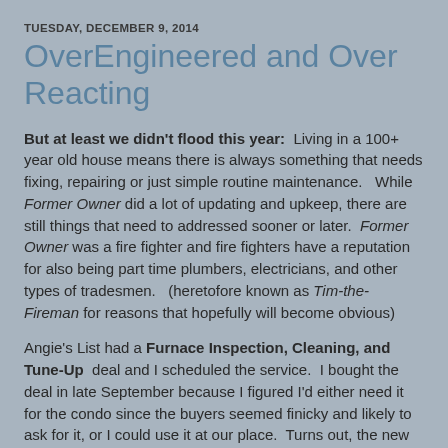TUESDAY, DECEMBER 9, 2014
OverEngineered and Over Reacting
But at least we didn't flood this year:  Living in a 100+ year old house means there is always something that needs fixing, repairing or just simple routine maintenance.   While Former Owner did a lot of updating and upkeep, there are still things that need to addressed sooner or later.  Former Owner was a fire fighter and fire fighters have a reputation for also being part time plumbers, electricians, and other types of tradesmen.   (heretofore known as Tim-the-Fireman for reasons that hopefully will become obvious)
Angie's List had a Furnace Inspection, Cleaning, and Tune-Up  deal and I scheduled the service.  I bought the deal in late September because I figured I'd either need it for the condo since the buyers seemed finicky and likely to ask for it, or I could use it at our place.  Turns out, the new buyers didn't ask for a furnace Tune-Up after all so we got to use it.  Unfortunately, this is heating servicemen busy